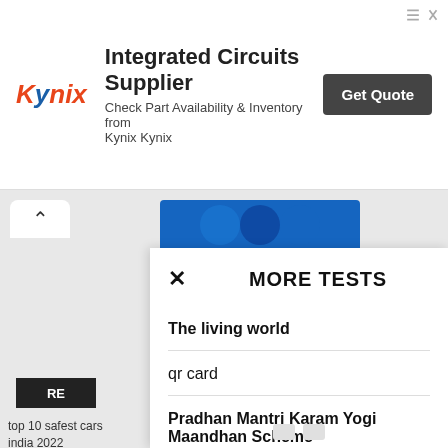[Figure (screenshot): Kynix advertisement banner with logo, 'Integrated Circuits Supplier' heading, subtext 'Check Part Availability & Inventory from Kynix Kynix', and 'Get Quote' button]
MORE TESTS
The living world
qr card
Pradhan Mantri Karam Yogi Maandhan Scheme
depreciation
top 10 safest cars india 2022